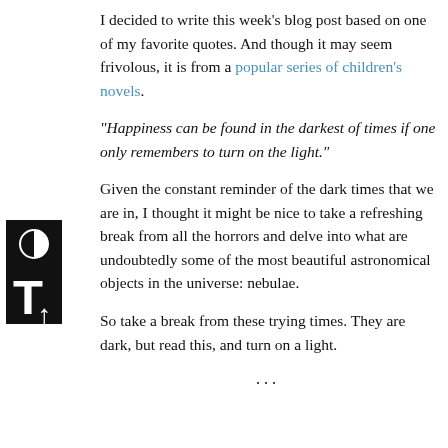I decided to write this week’s blog post based on one of my favorite quotes. And though it may seem frivolous, it is from a popular series of children’s novels.
“Happiness can be found in the darkest of times if one only remembers to turn on the light.”
Given the constant reminder of the dark times that we are in, I thought it might be nice to take a refreshing break from all the horrors and delve into what are undoubtedly some of the most beautiful astronomical objects in the universe: nebulae.
So take a break from these trying times. They are dark, but read this, and turn on a light.
…